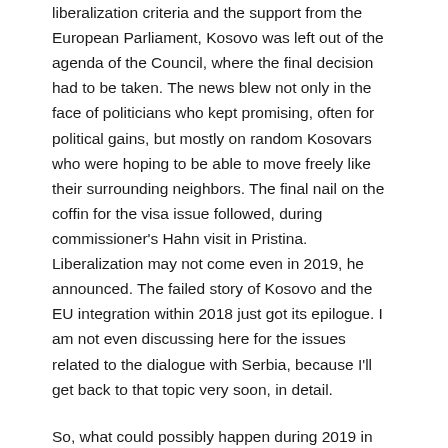liberalization criteria and the support from the European Parliament, Kosovo was left out of the agenda of the Council, where the final decision had to be taken. The news blew not only in the face of politicians who kept promising, often for political gains, but mostly on random Kosovars who were hoping to be able to move freely like their surrounding neighbors. The final nail on the coffin for the visa issue followed, during commissioner's Hahn visit in Pristina. Liberalization may not come even in 2019, he announced. The failed story of Kosovo and the EU integration within 2018 just got its epilogue. I am not even discussing here for the issues related to the dialogue with Serbia, because I'll get back to that topic very soon, in detail.
So, what could possibly happen during 2019 in order to keep Kosovo on track of EU integration?
As a starting point, Romanian presidency is not a promising news. Romania is one of the five non-recognizers of Kosovo